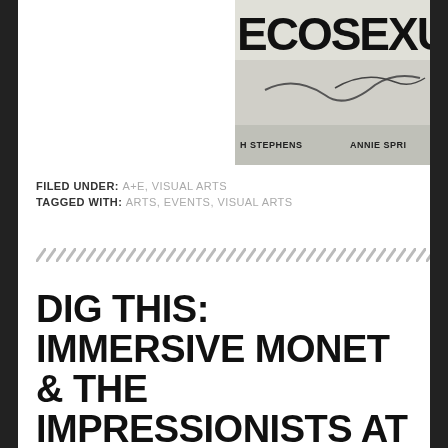[Figure (photo): Partial book or magazine cover showing text 'ECOSEXUA' at top, signatures and names 'H STEPHENS' and 'ANNIE SPRI' at bottom]
FILED UNDER: A+E, VISUAL ARTS
TAGGED WITH: ARTS, EVENTS, VISUAL ARTS
[Figure (other): Diagonal stripe divider pattern]
DIG THIS: IMMERSIVE MONET & THE IMPRESSIONISTS AT LIGHTHOUSE ARTSPACE
WRITTEN BY DIG STAFF
POSTED JUNE 6, 2022
FILED UNDER: A+E, VISUAL ARTS